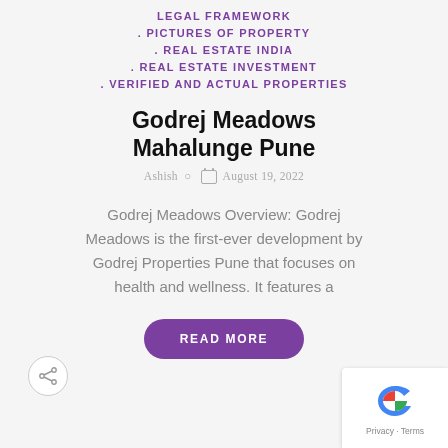LEGAL FRAMEWORK
. PICTURES OF PROPERTY
. REAL ESTATE INDIA
. REAL ESTATE INVESTMENT
. VERIFIED AND ACTUAL PROPERTIES
Godrej Meadows Mahalunge Pune
Ashish ○ 📅 August 19, 2022
Godrej Meadows Overview: Godrej Meadows is the first-ever development by Godrej Properties Pune that focuses on health and wellness. It features a
READ MORE